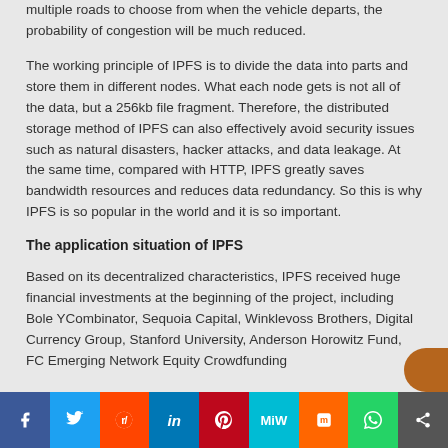multiple roads to choose from when the vehicle departs, the probability of congestion will be much reduced.
The working principle of IPFS is to divide the data into parts and store them in different nodes. What each node gets is not all of the data, but a 256kb file fragment. Therefore, the distributed storage method of IPFS can also effectively avoid security issues such as natural disasters, hacker attacks, and data leakage. At the same time, compared with HTTP, IPFS greatly saves bandwidth resources and reduces data redundancy. So this is why IPFS is so popular in the world and it is so important.
The application situation of IPFS
Based on its decentralized characteristics, IPFS received huge financial investments at the beginning of the project, including Bole YCombinator, Sequoia Capital, Winklevoss Brothers, Digital Currency Group, Stanford University, Anderson Horowitz Fund, FC Emerging Network Equity Crowdfunding